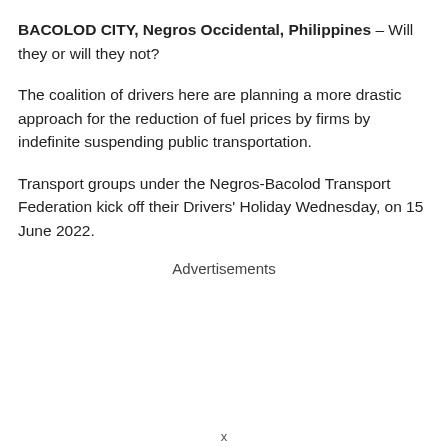BACOLOD CITY, Negros Occidental, Philippines – Will they or will they not?
The coalition of drivers here are planning a more drastic approach for the reduction of fuel prices by firms by indefinite suspending public transportation.
Transport groups under the Negros-Bacolod Transport Federation kick off their Drivers' Holiday Wednesday, on 15 June 2022.
Advertisements
x